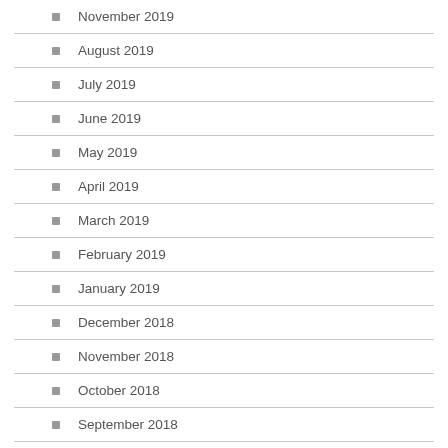November 2019
August 2019
July 2019
June 2019
May 2019
April 2019
March 2019
February 2019
January 2019
December 2018
November 2018
October 2018
September 2018
August 2018
July 2018